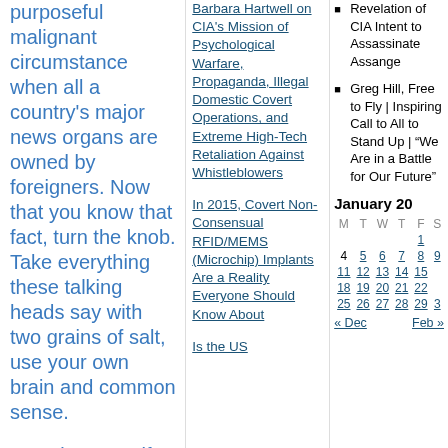purposeful malignant circumstance when all a country's major news organs are owned by foreigners. Now that you know that fact, turn the knob. Take everything these talking heads say with two grains of salt, use your own brain and common sense.
Trust in yourself, your abilities, your skills, your friends, your families, your communities, your most cherished ideals, your fondest hopes. If you are like most Americans you will feel panic and anger and confusion when you realize just
Barbara Hartwell on CIA's Mission of Psychological Warfare, Propaganda, Illegal Domestic Covert Operations, and Extreme High-Tech Retaliation Against Whistleblowers
In 2015, Covert Non-Consensual RFID/MEMS (Microchip) Implants Are a Reality Everyone Should Know About
Is the US
Revelation of CIA Intent to Assassinate Assange
Greg Hill, Free to Fly | Inspiring Call to All to Stand Up | "We Are in a Battle for Our Future"
| M | T | W | T | F | S |
| --- | --- | --- | --- | --- | --- |
|  |  |  |  | 1 |  |
| 4 | 5 | 6 | 7 | 8 | 9 |
| 11 | 12 | 13 | 14 | 15 |  |
| 18 | 19 | 20 | 21 | 22 |  |
| 25 | 26 | 27 | 28 | 29 | 3 |